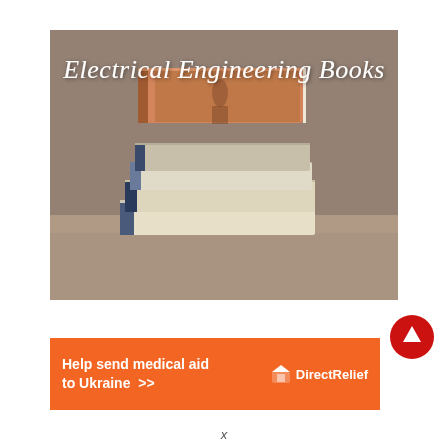[Figure (photo): Stack of books on a wooden surface with text 'Electrical Engineering Books' overlaid in white italic serif font on a brown/taupe background]
[Figure (infographic): Red circular button with white upward arrow icon]
[Figure (infographic): Orange advertisement banner reading 'Help send medical aid to Ukraine >>' with Direct Relief logo on the right]